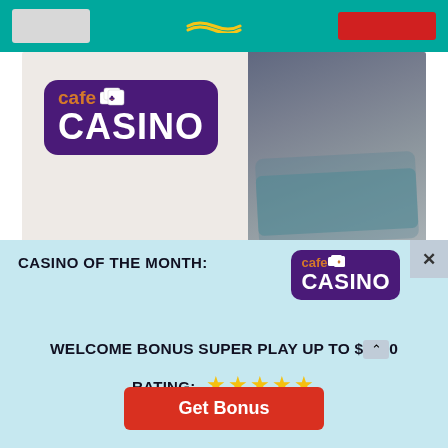[Figure (photo): Cafe Casino logo and person wearing teal sunglasses, with text 'SCORE A DEPOSIT' at the bottom. Promotional image for Cafe Casino.]
CASINO OF THE MONTH:
[Figure (logo): Cafe Casino logo — purple background with 'cafe' in orange and 'CASINO' in white bold text with playing card icons]
WELCOME BONUS SUPER PLAY UP TO $[amount]
RATING: ★★★★★
Get Bonus